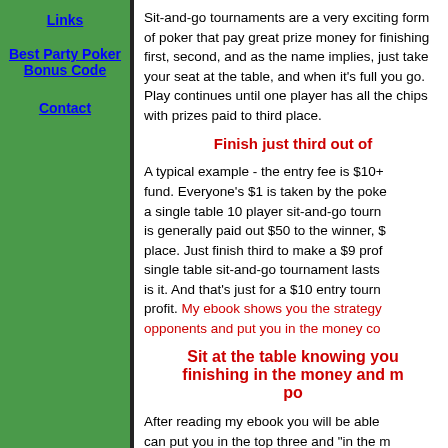Links
Best Party Poker Bonus Code
Contact
Sit-and-go tournaments are a very exciting form of poker that pay great prize money for finishing first, second, and as the name implies, just take your seat at the table, and when it's full you go. Play continues until one player has all the chips with prizes paid to third place.
Finish just third out of
A typical example - the entry fee is $10+ fund. Everyone's $1 is taken by the poker room leaving a single table 10 player sit-and-go tournament is generally paid out $50 to the winner, place. Just finish third to make a $9 profit. single table sit-and-go tournament lasts is it. And that's just for a $10 entry tournament profit. My ebook shows you the strategy opponents and put you in the money co
Sit at the table knowing you finishing in the money and making po
After reading my ebook you will be able can put you in the top three and "in the money". Not just in third place either - you can be winning you great feeling!
"OK, sounds great doesn't it